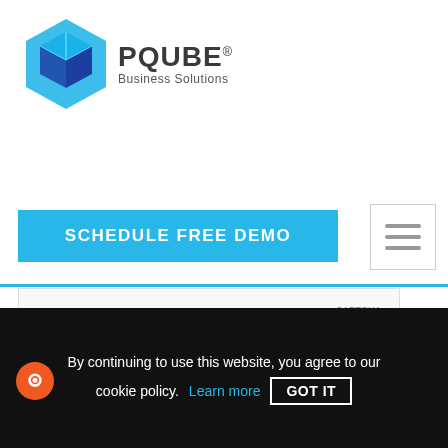[Figure (logo): PQUBE Business Solutions logo with blue cube icon and company name]
SCHEDULE FREE DEMO
[Figure (screenshot): reCAPTCHA widget showing Privacy and Terms links]
SEND MESSAGE
[Figure (illustration): Scroll to top arrow button (dark circle with up arrow)]
By continuing to use this website, you agree to our cookie policy. Learn more GOT IT